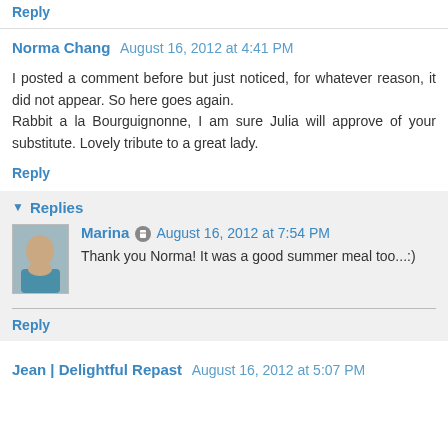Reply
Norma Chang  August 16, 2012 at 4:41 PM
I posted a comment before but just noticed, for whatever reason, it did not appear. So here goes again. Rabbit a la Bourguignonne, I am sure Julia will approve of your substitute. Lovely tribute to a great lady.
Reply
Replies
Marina  August 16, 2012 at 7:54 PM
Thank you Norma! It was a good summer meal too...:)
Reply
Jean | Delightful Repast  August 16, 2012 at 5:07 PM